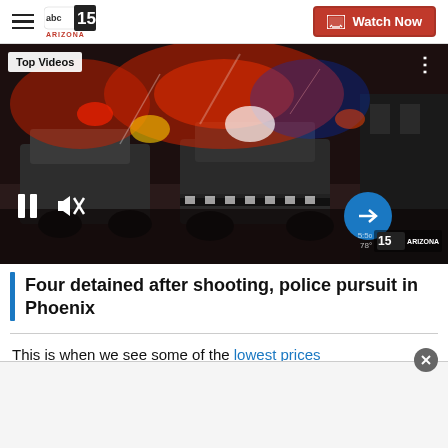abc15 Arizona — Watch Now
[Figure (screenshot): News video screenshot showing police vehicles with flashing red/blue lights at night, labeled 'Top Videos' in upper left corner, with video player controls (pause, mute) and a blue arrow button.]
Four detained after shooting, police pursuit in Phoenix
This is when we see some of the lowest prices